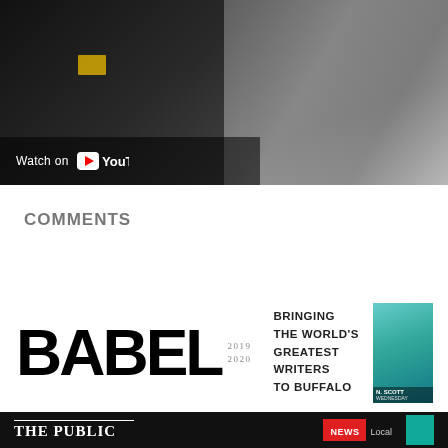[Figure (screenshot): YouTube video thumbnail showing two people, one holding a yellow envelope, with 'Watch on YouTube' overlay button]
COMMENTS
[Figure (logo): BABEL 2019 2020 logo with tagline BRINGING THE WORLD'S GREATEST WRITERS TO BUFFALO, and a partial thumbnail of a person labeled N. SCOTT WEDNESDAY]
[Figure (screenshot): THE PUBLIC newspaper banner with NEWS / Local section label and partial colored box]